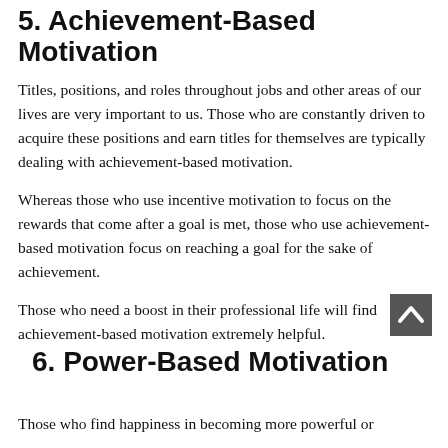5. Achievement-Based Motivation
Titles, positions, and roles throughout jobs and other areas of our lives are very important to us. Those who are constantly driven to acquire these positions and earn titles for themselves are typically dealing with achievement-based motivation.
Whereas those who use incentive motivation to focus on the rewards that come after a goal is met, those who use achievement-based motivation focus on reaching a goal for the sake of achievement.
Those who need a boost in their professional life will find achievement-based motivation extremely helpful.
[Figure (other): Scroll-to-top button, dark grey square with upward chevron arrow icon]
6. Power-Based Motivation
Those who find happiness in becoming more powerful or